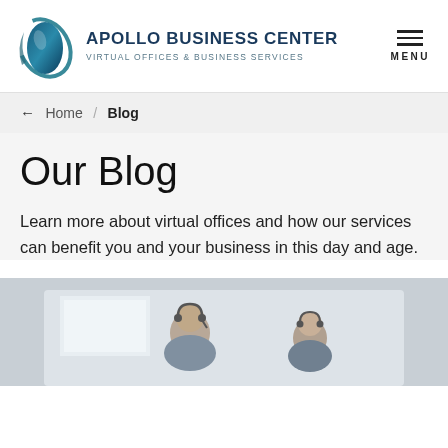APOLLO BUSINESS CENTER | VIRTUAL OFFICES & BUSINESS SERVICES
← Home / Blog
Our Blog
Learn more about virtual offices and how our services can benefit you and your business in this day and age.
[Figure (photo): Photo of office workers/receptionists with headsets at a business center]